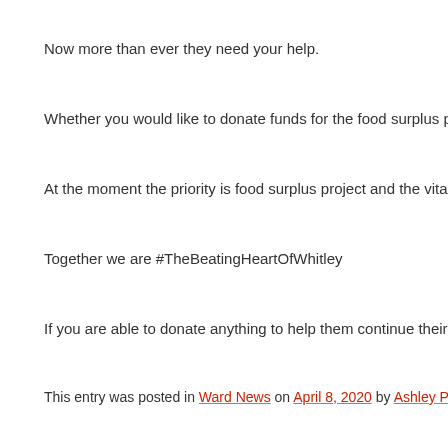Now more than ever they need your help.
Whether you would like to donate funds for the food surplus project, the de…
At the moment the priority is food surplus project and the vital delivery of fo…
Together we are #TheBeatingHeartOfWhitley
If you are able to donate anything to help them continue their work please c…
This entry was posted in Ward News on April 8, 2020 by Ashley Pearce.
GCSE and A level grades decision
https://www.gov.uk/government/news/how-gcses-as-a-levels-will-be-award…
This entry was posted in Education on April 3, 2020 by Ashley Pearce.